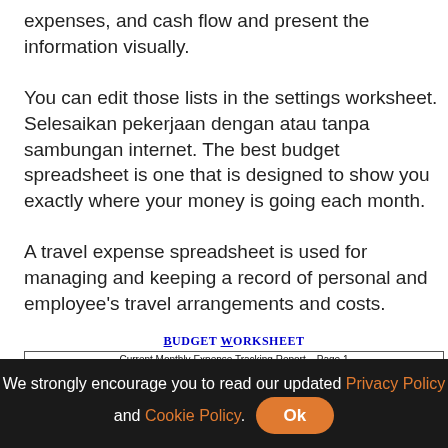expenses, and cash flow and present the information visually.
You can edit those lists in the settings worksheet. Selesaikan pekerjaan dengan atau tanpa sambungan internet. The best budget spreadsheet is one that is designed to show you exactly where your money is going each month.
A travel expense spreadsheet is used for managing and keeping a record of personal and employee's travel arrangements and costs.
BUDGET WORKSHEET
| Spending Category | Yearly Fees Divided by 12 | Month One | Month Two | Month Three | Month Four | Average Mo. Amt. |
| --- | --- | --- | --- | --- | --- | --- |
| CURRENT HOUSING EXPENSES |  |  |  |  |  |  |
We strongly encourage you to read our updated Privacy Policy and Cookie Policy. Ok